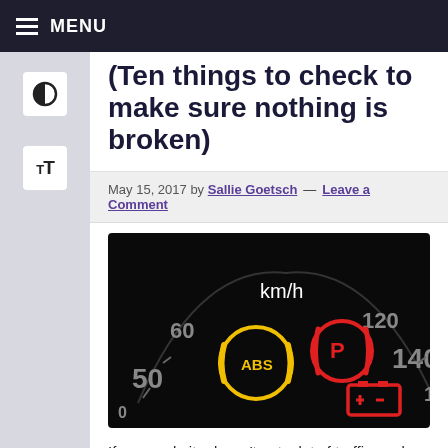MENU
(Ten things to check to make sure nothing is broken)
May 15, 2017 by Sallie Goetsch — Leave a Comment
[Figure (photo): Car dashboard speedometer showing warning lights: ABS (yellow), parking brake (red P), and battery (red), with km/h gauge showing 50-180 range]
If your website doesn't get a lot of traffic–and sometimes even if it does–you may never know when something isn't working